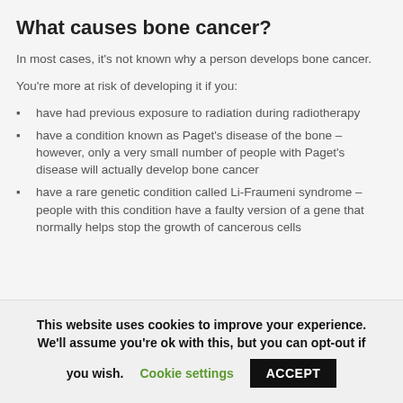What causes bone cancer?
In most cases, it's not known why a person develops bone cancer.
You're more at risk of developing it if you:
have had previous exposure to radiation during radiotherapy
have a condition known as Paget's disease of the bone – however, only a very small number of people with Paget's disease will actually develop bone cancer
have a rare genetic condition called Li-Fraumeni syndrome – people with this condition have a faulty version of a gene that normally helps stop the growth of cancerous cells
This website uses cookies to improve your experience. We'll assume you're ok with this, but you can opt-out if you wish. Cookie settings ACCEPT